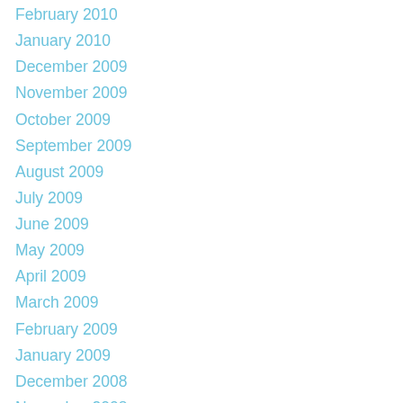February 2010
January 2010
December 2009
November 2009
October 2009
September 2009
August 2009
July 2009
June 2009
May 2009
April 2009
March 2009
February 2009
January 2009
December 2008
November 2008
October 2008
September 2008
August 2008
July 2008